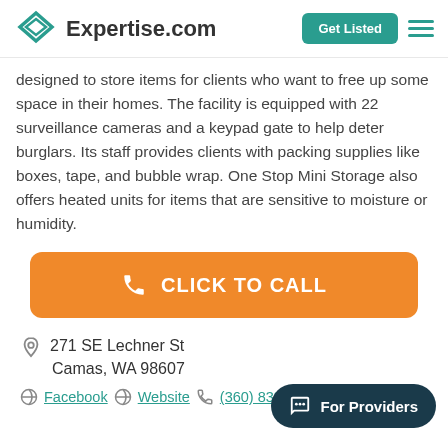Expertise.com — Get Listed
designed to store items for clients who want to free up some space in their homes. The facility is equipped with 22 surveillance cameras and a keypad gate to help deter burglars. Its staff provides clients with packing supplies like boxes, tape, and bubble wrap. One Stop Mini Storage also offers heated units for items that are sensitive to moisture or humidity.
CLICK TO CALL
271 SE Lechner St
Camas, WA 98607
Facebook   Website   (360) 833 2333